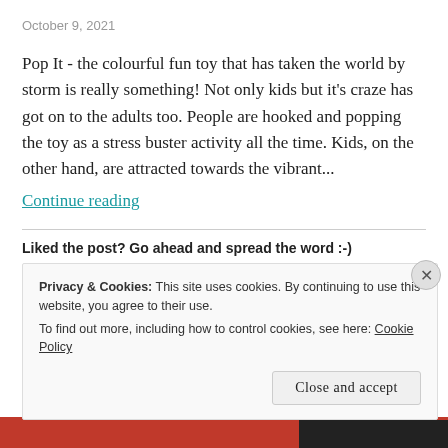October 9, 2021
Pop It - the colourful fun toy that has taken the world by storm is really something! Not only kids but it's craze has got on to the adults too. People are hooked and popping the toy as a stress buster activity all the time. Kids, on the other hand, are attracted towards the vibrant...
Continue reading
Liked the post? Go ahead and spread the word :-)
Tweet | Share 0 | Email | Print
Privacy & Cookies: This site uses cookies. By continuing to use this website, you agree to their use.
To find out more, including how to control cookies, see here: Cookie Policy
Close and accept